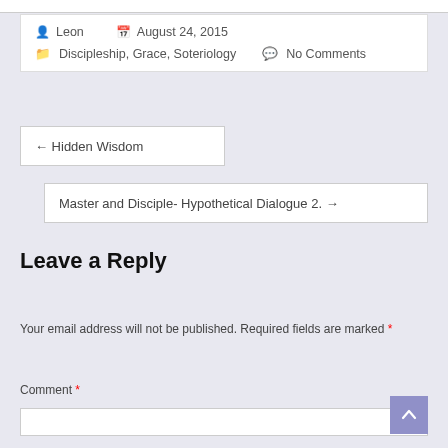Leon  August 24, 2015  Discipleship, Grace, Soteriology  No Comments
← Hidden Wisdom
Master and Disciple- Hypothetical Dialogue 2. →
Leave a Reply
Your email address will not be published. Required fields are marked *
Comment *